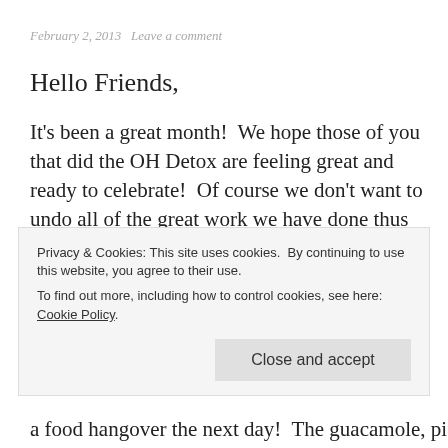February 2, 2013   Leave a comment
Hello Friends,
It's been a great month!  We hope those of you that did the OH Detox are feeling great and ready to celebrate!  Of course we don't want to undo all of the great work we have done thus far, so we thought a few healthy suggestions for Super Bowl Sunday might help.  We know that some of you are experimenting with eating a vegetarian diet, many of you enjoy the paleo style of eating and weight maintenance and some of you are just getting started on your journey to healthier eating.
Privacy & Cookies: This site uses cookies. By continuing to use this website, you agree to their use.
To find out more, including how to control cookies, see here: Cookie Policy
a food hangover the next day!  The guacamole, pico de